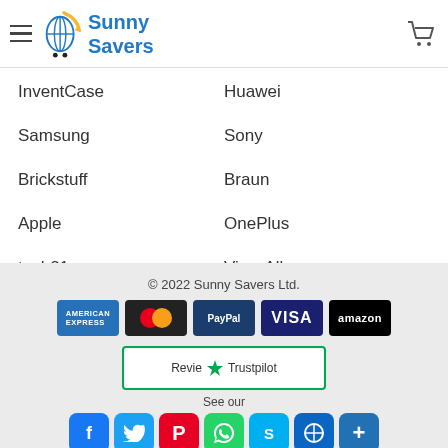Sunny Savers
InventCase
Huawei
Samsung
Sony
Brickstuff
Braun
Apple
OnePlus
tech21
View All
Google
© 2022 Sunny Savers Ltd. | Payment icons: American Express, Mastercard, PayPal, Visa, Amazon | Social icons: Facebook, Twitter, Pinterest, WhatsApp, Skype, Link, Plus | Review us on Trustpilot | See our